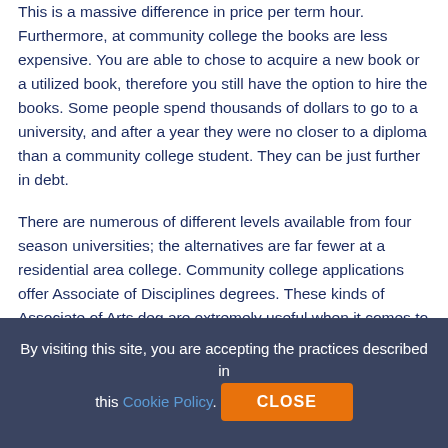This is a massive difference in price per term hour. Furthermore, at community college the books are less expensive. You are able to chose to acquire a new book or a utilized book, therefore you still have the option to hire the books. Some people spend thousands of dollars to go to a university, and after a year they were no closer to a diploma than a community college student. They can be just further in debt.
There are numerous of different levels available from four season universities; the alternatives are far fewer at a residential area college. Community college applications offer Associate of Disciplines degrees. These kinds of Associate of Arts deg are extremely useful when it comes to copying or chasing a higher education later on. Community colleges are recognized for giving nontraditional students many convenient methods to obtain a career. Married college students, students with children, or perhaps students who have work regular may not have the time or maybe the finances to complete a 4 year program.
By visiting this site, you are accepting the practices described in this Cookie Policy.